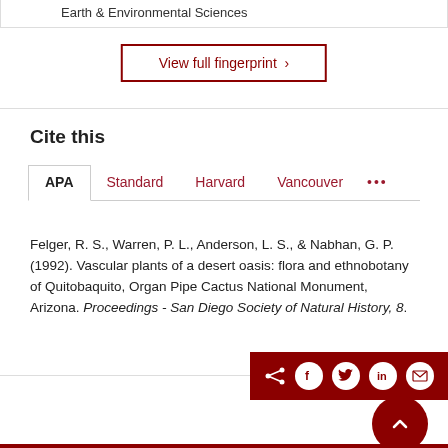Earth & Environmental Sciences
View full fingerprint ›
Cite this
APA   Standard   Harvard   Vancouver   •••
Felger, R. S., Warren, P. L., Anderson, L. S., & Nabhan, G. P. (1992). Vascular plants of a desert oasis: flora and ethnobotany of Quitobaquito, Organ Pipe Cactus National Monument, Arizona. Proceedings - San Diego Society of Natural History, 8.